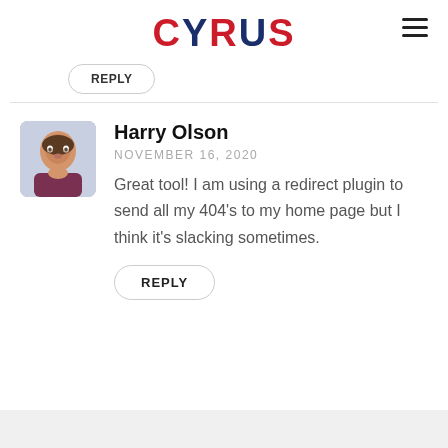CYRLIS
REPLY
Harry Olson
NOVEMBER 16, 2020
Great tool! I am using a redirect plugin to send all my 404's to my home page but I think it's slacking sometimes.
REPLY